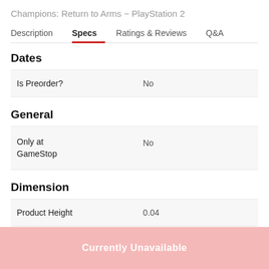Champions: Return to Arms - PlayStation 2
Description | Specs | Ratings & Reviews | Q&A
Dates
|  |  |
| --- | --- |
| Is Preorder? | No |
General
|  |  |
| --- | --- |
| Only at GameStop | No |
Dimension
|  |  |
| --- | --- |
| Product Height | 0.04 |
Currently Unavailable